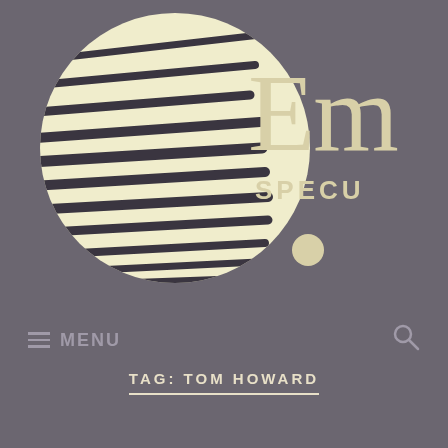[Figure (logo): Circular logo with diagonal black stripes on a cream/yellow circle, with a small dot below and to the right. Partial text 'Em' in large serif font and 'SPECU' in bold caps visible to the right of the circle on a dark gray background.]
≡ MENU
🔍
TAG: TOM HOWARD